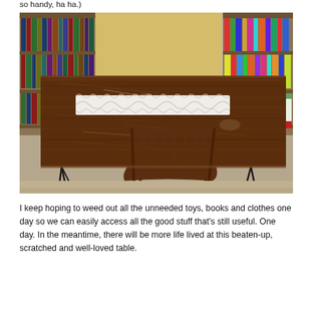so handy, ha ha.)
[Figure (photo): A scratched and worn dark wooden table with hairpin legs, a white crocheted table runner, and a wooden chair in the background. Bookshelves filled with books, DVDs, and colorful items are visible in the background.]
I keep hoping to weed out all the unneeded toys, books and clothes one day so we can easily access all the good stuff that's still useful. One day. In the meantime, there will be more life lived at this beaten-up, scratched and well-loved table.